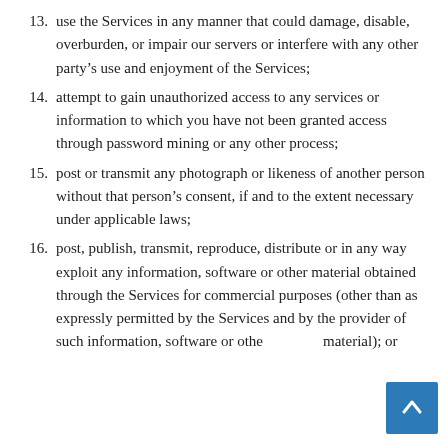13. use the Services in any manner that could damage, disable, overburden, or impair our servers or interfere with any other party's use and enjoyment of the Services;
14. attempt to gain unauthorized access to any services or information to which you have not been granted access through password mining or any other process;
15. post or transmit any photograph or likeness of another person without that person's consent, if and to the extent necessary under applicable laws;
16. post, publish, transmit, reproduce, distribute or in any way exploit any information, software or other material obtained through the Services for commercial purposes (other than as expressly permitted by the Services and by the provider of such information, software or other material); or